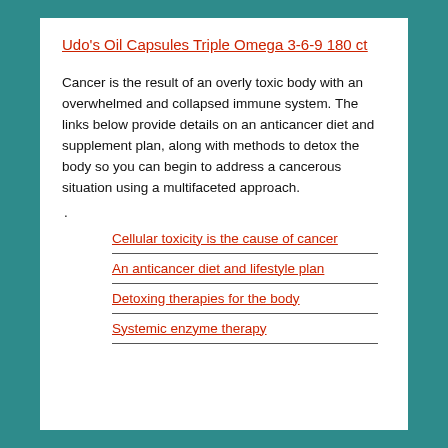Udo's Oil Capsules Triple Omega 3-6-9 180 ct
Cancer is the result of an overly toxic body with an overwhelmed and collapsed immune system. The links below provide details on an anticancer diet and supplement plan, along with methods to detox the body so you can begin to address a cancerous situation using a multifaceted approach.
.
Cellular toxicity is the cause of cancer
An anticancer diet and lifestyle plan
Detoxing therapies for the body
Systemic enzyme therapy